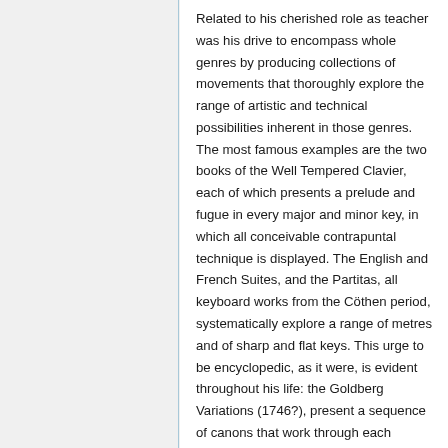Related to his cherished role as teacher was his drive to encompass whole genres by producing collections of movements that thoroughly explore the range of artistic and technical possibilities inherent in those genres. The most famous examples are the two books of the Well Tempered Clavier, each of which presents a prelude and fugue in every major and minor key, in which all conceivable contrapuntal technique is displayed. The English and French Suites, and the Partitas, all keyboard works from the Cöthen period, systematically explore a range of metres and of sharp and flat keys. This urge to be encyclopedic, as it were, is evident throughout his life: the Goldberg Variations (1746?), present a sequence of canons that work through each